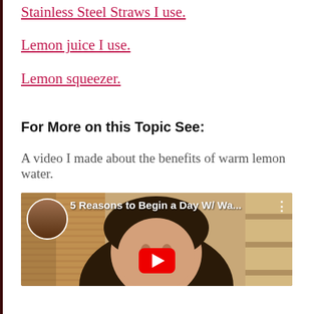Stainless Steel Straws I use.
Lemon juice I use.
Lemon squeezer.
For More on this Topic See:
A video I made about the benefits of warm lemon water.
[Figure (screenshot): YouTube video thumbnail showing a woman's face with long dark hair, with a circular avatar in the top left and title '5 Reasons to Begin a Day W/ Wa...' and three-dot menu icon. A red play button is visible at the bottom center.]